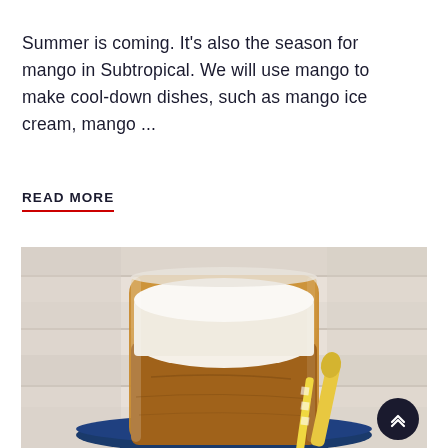Summer is coming. It's also the season for mango in Subtropical. We will use mango to make cool-down dishes, such as mango ice cream, mango ...
READ MORE
[Figure (photo): A glass jar filled with a layered drink — dark amber liquid at the bottom and thick white cream on top — sitting on a blue plate with a yellow wooden spoon beside it, against a white wooden background.]